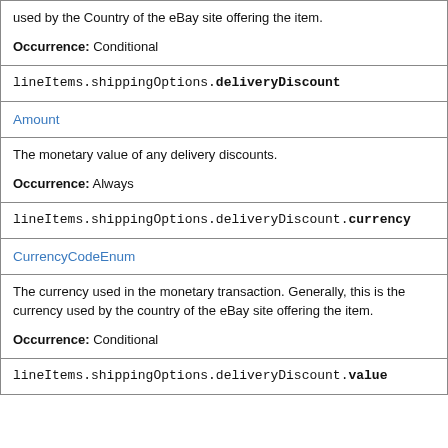used by the country of the eBay site offering the item.

Occurrence: Conditional
lineItems.shippingOptions.deliveryDiscount
Amount
The monetary value of any delivery discounts.

Occurrence: Always
lineItems.shippingOptions.deliveryDiscount.currency
CurrencyCodeEnum
The currency used in the monetary transaction. Generally, this is the currency used by the country of the eBay site offering the item.

Occurrence: Conditional
lineItems.shippingOptions.deliveryDiscount.value